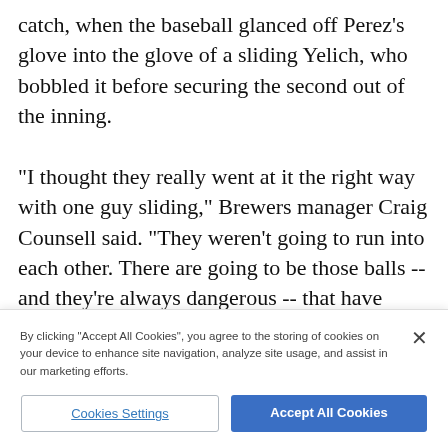catch, when the baseball glanced off Perez's glove into the glove of a sliding Yelich, who bobbled it before securing the second out of the inning.

"I thought they really went at it the right way with one guy sliding," Brewers manager Craig Counsell said. "They weren't going to run into each other. There are going to be those balls -- and they're always dangerous -- that have three guys going to the same
By clicking "Accept All Cookies", you agree to the storing of cookies on your device to enhance site navigation, analyze site usage, and assist in our marketing efforts.